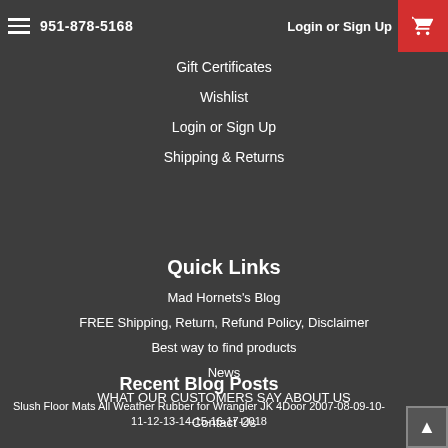951-878-5168   Login or Sign Up
Gift Certificates
Wishlist
Login or Sign Up
Shipping & Returns
Quick Links
Mad Hornets's Blog
FREE Shipping, Return, Refund Policy, Disclaimer
Best way to find products
News
WHAT OUR CUSTOMERS SAY ABOUT US
Contact Us
Recent Blog Posts
Slush Floor Mats All Weather Rubber for Wrangler JK 4Door 2007-08-09-10-11-12-13-14-15-16-17-2018